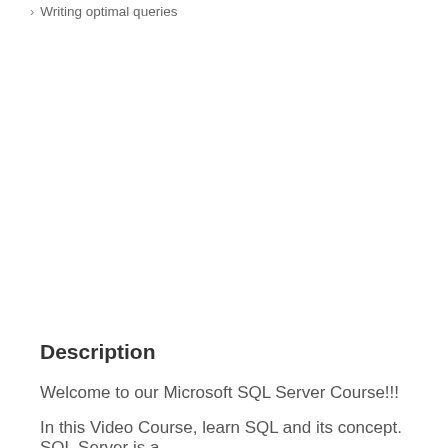Writing optimal queries
Description
Welcome to our Microsoft SQL Server Course!!!
In this Video Course, learn SQL and its concept. SQL Server is a